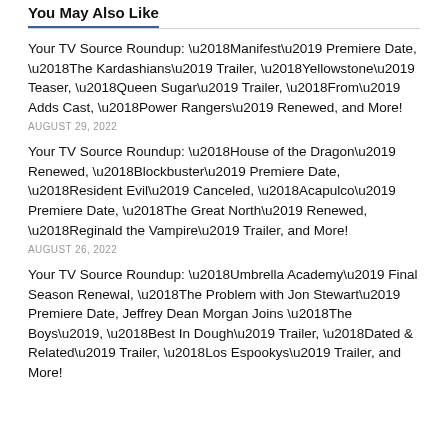You May Also Like
Your TV Source Roundup: ‘Manifest’ Premiere Date, ‘The Kardashians’ Trailer, ‘Yellowstone’ Teaser, ‘Queen Sugar’ Trailer, ‘From’ Adds Cast, ‘Power Rangers’ Renewed, and More!
AUGUST 29, 2022
Your TV Source Roundup: ‘House of the Dragon’ Renewed, ‘Blockbuster’ Premiere Date, ‘Resident Evil’ Canceled, ‘Acapulco’ Premiere Date, ‘The Great North’ Renewed, ‘Reginald the Vampire’ Trailer, and More!
AUGUST 26, 2022
Your TV Source Roundup: ‘Umbrella Academy’ Final Season Renewal, ‘The Problem with Jon Stewart’ Premiere Date, Jeffrey Dean Morgan Joins ‘The Boys’, ‘Best In Dough’ Trailer, ‘Dated & Related’ Trailer, ‘Los Espookys’ Trailer, and More!